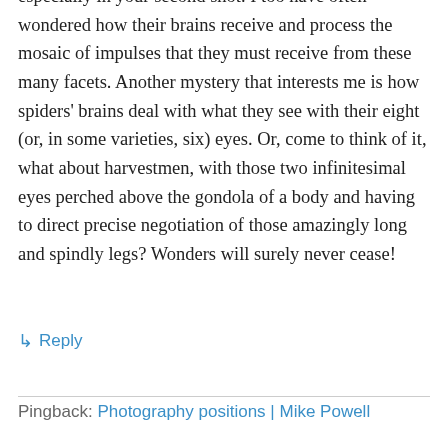especially in your second shot. I too have often wondered how their brains receive and process the mosaic of impulses that they must receive from these many facets. Another mystery that interests me is how spiders' brains deal with what they see with their eight (or, in some varieties, six) eyes. Or, come to think of it, what about harvestmen, with those two infinitesimal eyes perched above the gondola of a body and having to direct precise negotiation of those amazingly long and spindly legs? Wonders will surely never cease!
↳ Reply
Pingback: Photography positions | Mike Powell